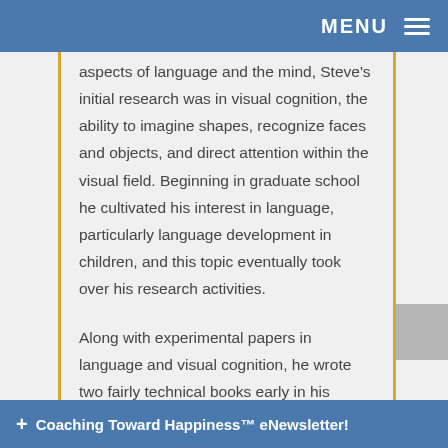MENU
aspects of language and the mind, Steve's initial research was in visual cognition, the ability to imagine shapes, recognize faces and objects, and direct attention within the visual field. Beginning in graduate school he cultivated his interest in language, particularly language development in children, and this topic eventually took over his research activities.
Along with experimental papers in language and visual cognition, he wrote two fairly technical books early in his career on children's acquisition of words and grammatical structures, and on processes involved in the development of language, s
+ Coaching Toward Happiness™ eNewsletter!